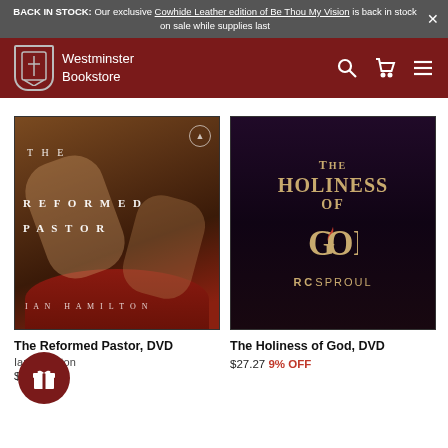BACK IN STOCK: Our exclusive Cowhide Leather edition of Be Thou My Vision is back in stock on sale while supplies last
Westminster Bookstore
[Figure (photo): Book cover of The Reformed Pastor, DVD by Ian Hamilton - painting of feet washing scene]
The Reformed Pastor, DVD
Ian Hamilton
9% OFF
[Figure (photo): Book cover of The Holiness of God, DVD by RC Sproul - dark purple cover with gold text and flame motif]
The Holiness of God, DVD
$27.27 9% OFF